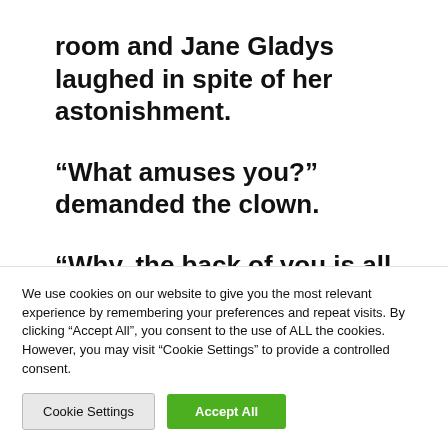room and Jane Gladys laughed in spite of her astonishment.
“What amuses you?” demanded the clown.
“Why, the back of you is all white!” cried the
girl. “You’re only a clown in front of you.”
We use cookies on our website to give you the most relevant experience by remembering your preferences and repeat visits. By clicking “Accept All”, you consent to the use of ALL the cookies. However, you may visit “Cookie Settings” to provide a controlled consent.